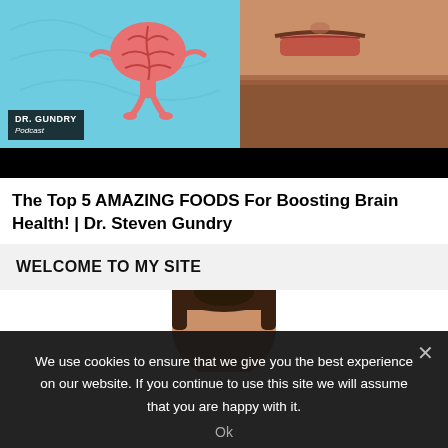[Figure (screenshot): YouTube thumbnail showing a cartoon brain character on teal background on the left, and Dr. Gundry's face (man with beard, mouth open) on the right. DR. GUNDRY Podcast logo overlay in bottom left. Black bar at bottom of thumbnail.]
The Top 5 AMAZING FOODS For Boosting Brain Health! | Dr. Steven Gundry
WELCOME TO MY SITE
[Figure (photo): Partial photo of a person's head/face, showing top of head and forehead, centered on the page.]
We use cookies to ensure that we give you the best experience on our website. If you continue to use this site we will assume that you are happy with it.
Ok